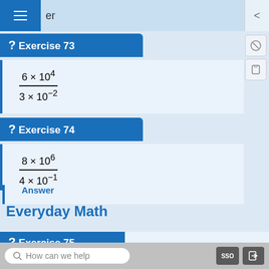er
Exercise 73
Exercise 74
Answer
Everyday Math
Exercise 75
How can we help